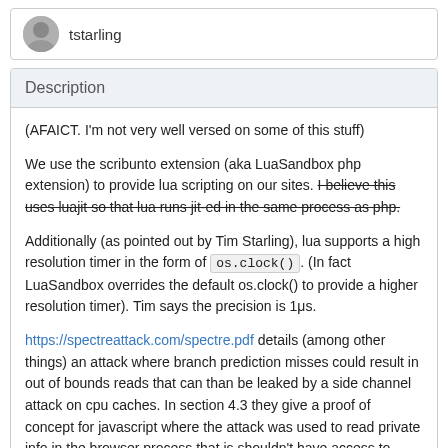tstarling
Description
(AFAICT. I'm not very well versed on some of this stuff)
We use the scribunto extension (aka LuaSandbox php extension) to provide lua scripting on our sites. I believe this uses luajit so that lua runs jit-ed in the same process as php.
Additionally (as pointed out by Tim Starling), lua supports a high resolution timer in the form of os.clock(). (In fact LuaSandbox overrides the default os.clock() to provide a higher resolution timer). Tim says the precision is 1μs.
https://spectreattack.com/spectre.pdf details (among other things) an attack where branch prediction misses could result in out of bounds reads that can than be leaked by a side channel attack on cpu caches. In section 4.3 they give a proof of concept for javascript where the attack was used to read private info in the browser process that js shouldn't have access to, using the fact it was JIT-ed and there was a